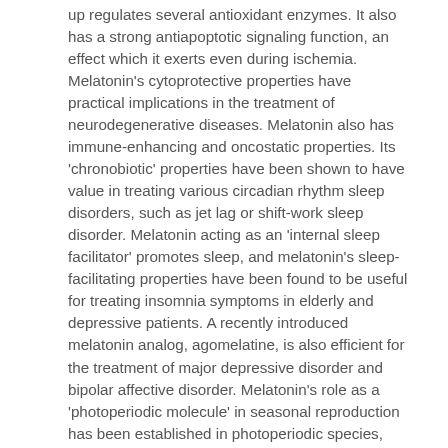up regulates several antioxidant enzymes. It also has a strong antiapoptotic signaling function, an effect which it exerts even during ischemia. Melatonin's cytoprotective properties have practical implications in the treatment of neurodegenerative diseases. Melatonin also has immune-enhancing and oncostatic properties. Its 'chronobiotic' properties have been shown to have value in treating various circadian rhythm sleep disorders, such as jet lag or shift-work sleep disorder. Melatonin acting as an 'internal sleep facilitator' promotes sleep, and melatonin's sleep-facilitating properties have been found to be useful for treating insomnia symptoms in elderly and depressive patients. A recently introduced melatonin analog, agomelatine, is also efficient for the treatment of major depressive disorder and bipolar affective disorder. Melatonin's role as a 'photoperiodic molecule' in seasonal reproduction has been established in photoperiodic species, although its regulatory influence in humans remains under investigation. Taken together, this evidence implicates melatonin in a broad range of effects with a significant regulatory influence over many of the body's physiological functions.